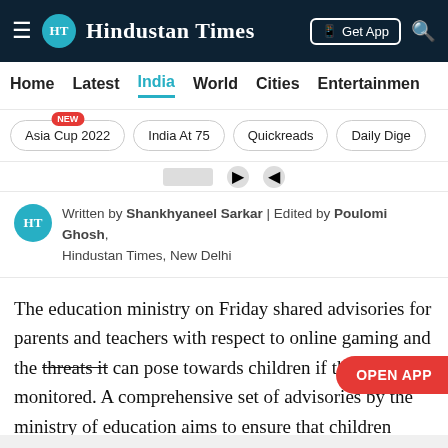Hindustan Times
Home | Latest | India | World | Cities | Entertainment
Asia Cup 2022 NEW | India At 75 | Quickreads | Daily Dige
Written by Shankhyaneel Sarkar | Edited by Poulomi Ghosh, Hindustan Times, New Delhi
The education ministry on Friday shared advisories for parents and teachers with respect to online gaming and the threats it can pose towards children if they are not monitored. A comprehensive set of advisories by the ministry of education aims to ensure that children understand the concept of in-game purchases, learn to protect their identities online and also understand the addictive nature of gaming from a young age.